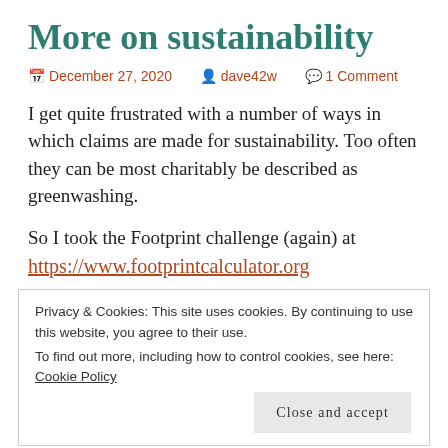More on sustainability
📅 December 27, 2020  👤 dave42w  💬 1 Comment
I get quite frustrated with a number of ways in which claims are made for sustainability. Too often they can be most charitably be described as greenwashing.
So I took the Footprint challenge (again) at
https://www.footprintcalculator.org
Privacy & Cookies: This site uses cookies. By continuing to use this website, you agree to their use.
To find out more, including how to control cookies, see here: Cookie Policy
[Close and accept]
7.93gna and the global average is 2.75gna.